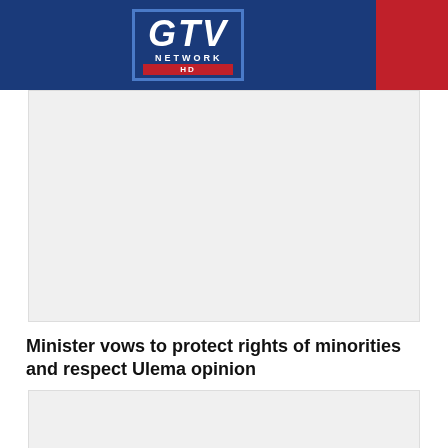GTV NETWORK HD
[Figure (photo): Large image placeholder (gray box) below GTV Network HD header]
Minister vows to protect rights of minorities and respect Ulema opinion
[Figure (photo): Second image placeholder (gray box) with black square in lower-right corner]